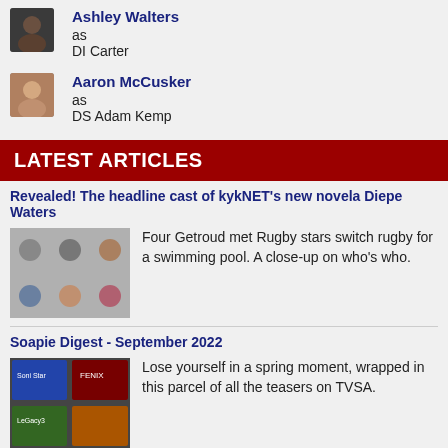Ashley Walters
as
DI Carter
Aaron McCusker
as
DS Adam Kemp
LATEST ARTICLES
Revealed! The headline cast of kykNET's new novela Diepe Waters
Four Getroud met Rugby stars switch rugby for a swimming pool. A close-up on who's who.
Soapie Digest - September 2022
Lose yourself in a spring moment, wrapped in this parcel of all the teasers on TVSA.
New on TV today: Thursday 1 September